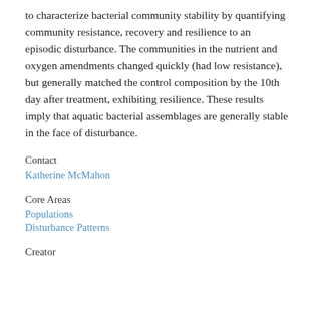to characterize bacterial community stability by quantifying community resistance, recovery and resilience to an episodic disturbance. The communities in the nutrient and oxygen amendments changed quickly (had low resistance), but generally matched the control composition by the 10th day after treatment, exhibiting resilience. These results imply that aquatic bacterial assemblages are generally stable in the face of disturbance.
Contact
Katherine McMahon
Core Areas
Populations
Disturbance Patterns
Creator